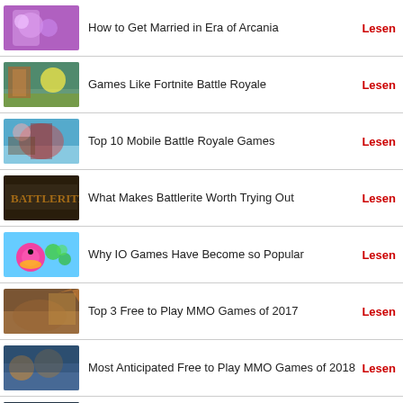How to Get Married in Era of Arcania | Lesen
Games Like Fortnite Battle Royale | Lesen
Top 10 Mobile Battle Royale Games | Lesen
What Makes Battlerite Worth Trying Out | Lesen
Why IO Games Have Become so Popular | Lesen
Top 3 Free to Play MMO Games of 2017 | Lesen
Most Anticipated Free to Play MMO Games of 2018 | Lesen
Games Like Bravo Storm | Lesen